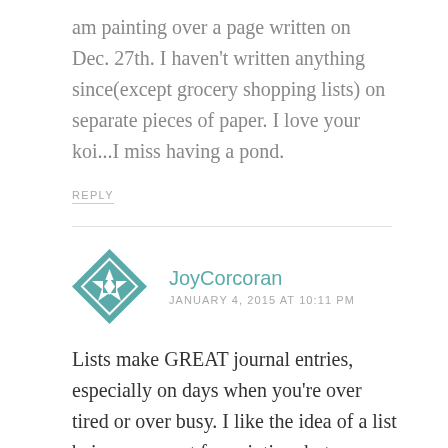am painting over a page written on Dec. 27th. I haven't written anything since(except grocery shopping lists) on separate pieces of paper. I love your koi...I miss having a pond.
REPLY
[Figure (illustration): Teal and white geometric quilt-pattern avatar icon for JoyCorcoran]
JoyCorcoran
JANUARY 4, 2015 AT 10:11 PM
Lists make GREAT journal entries, especially on days when you're over tired or over busy. I like the idea of a list being a support for painting, but you can up the creativity of your lists by making lists of things you like. When spring hits with boots to not recall the flowers that I